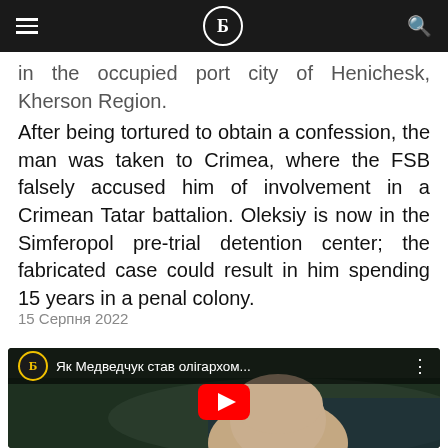Б (logo navigation bar)
in the occupied port city of Henichesk, Kherson Region. After being tortured to obtain a confession, the man was taken to Crimea, where the FSB falsely accused him of involvement in a Crimean Tatar battalion. Oleksiy is now in the Simferopol pre-trial detention center; the fabricated case could result in him spending 15 years in a penal colony.
15 Серпня 2022
[Figure (screenshot): YouTube video thumbnail showing a man's face against an aerial landscape background. Video title reads 'Як Медведчук став олігархом...' with the Б channel logo.]